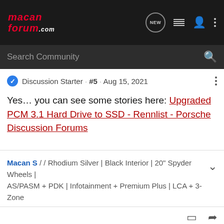MacanForum.com — navigation bar with NEW, list, user, and more icons
Search Community
Discussion Starter · #5 · Aug 15, 2021
Yes… you can see some stories here: Upgraded PCM 3.1 Hard Drive to SSD - Rennlist - Porsche Discussion Forums
Macan S / / Rhodium Silver | Black Interior | 20" Spyder Wheels | AS/PASM + PDK | Infotainment + Premium Plus | LCA + 3-Zone
Don16 · Registered 🇬🇧 Joined Jul 10, 2019 · 425 Posts